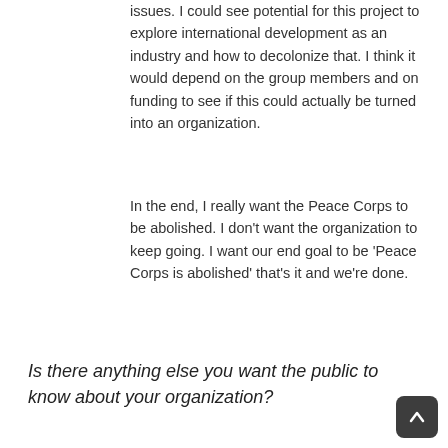issues. I could see potential for this project to explore international development as an industry and how to decolonize that. I think it would depend on the group members and on funding to see if this could actually be turned into an organization.
In the end, I really want the Peace Corps to be abolished. I don't want the organization to keep going. I want our end goal to be 'Peace Corps is abolished' that's it and we're done.
Is there anything else you want the public to know about your organization?
Chiemeka: You had asked about volunteers who had had a good experience and I would consider myself part of that category where my service